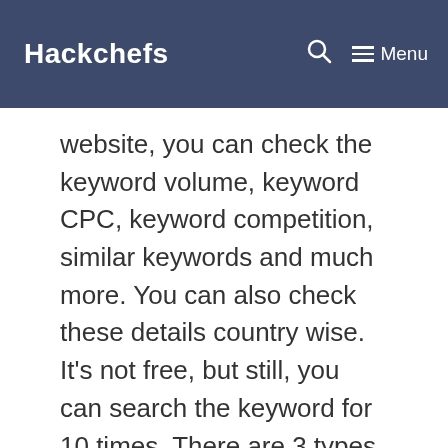Hackchefs
website, you can check the keyword volume, keyword CPC, keyword competition, similar keywords and much more. You can also check these details country wise. It’s not free, but still, you can search the keyword for 10 times. There are 3 types of plans, you can buy any of them according to your requirement. To check the pricing and plans, click on the below banner.